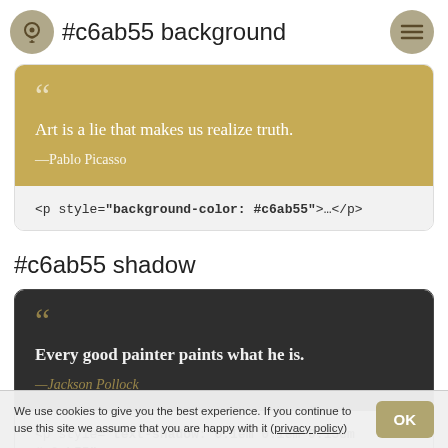#c6ab55 background
“ Art is a lie that makes us realize truth. —Pablo Picasso
<p style="background-color: #c6ab55">...</p>
#c6ab55 shadow
“ Every good painter paints what he is. —Jackson Pollock
<p style="text-shadow: 0.1em 0.1em 0.15em #c6ab55">...
We use cookies to give you the best experience. If you continue to use this site we assume that you are happy with it (privacy policy)